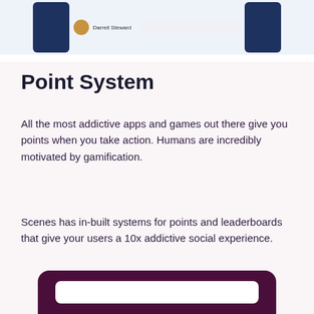[Figure (screenshot): Partial screenshot of an app UI showing a dark blue phone panel, a user avatar with name 'Darrell Steward', a search bar, and another dark blue panel on the right, on a light blue background.]
Point System
All the most addictive apps and games out there give you points when you take action. Humans are incredibly motivated by gamification.
Scenes has in-built systems for points and leaderboards that give your users a 10x addictive social experience.
[Figure (screenshot): Bottom portion of a dark maroon/purple card UI element with a white inner bar, partially visible at the bottom of the page.]